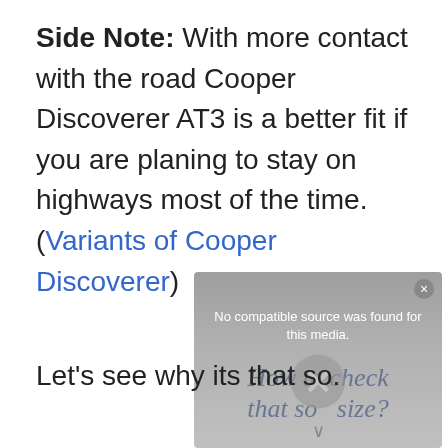Side Note: With more contact with the road Cooper Discoverer AT3 is a better fit if you are planing to stay on highways most of the time. (Variants of Cooper Discoverer)
[Figure (screenshot): Video player overlay showing 'No compatible source was found for this media.' with a faded title 'How to check that so... size?' and an X close/error icon]
Let's see why its that so.